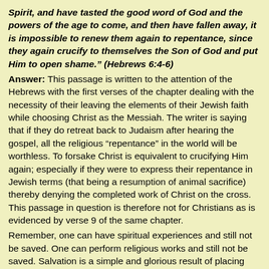Spirit, and have tasted the good word of God and the powers of the age to come, and then have fallen away, it is impossible to renew them again to repentance, since they again crucify to themselves the Son of God and put Him to open shame."  (Hebrews 6:4-6)
Answer: This passage is written to the attention of the Hebrews with the first verses of the chapter dealing with the necessity of their leaving the elements of their Jewish faith while choosing Christ as the Messiah.  The writer is saying that if they do retreat back to Judaism after hearing the gospel, all the religious “repentance” in the world will be worthless.  To forsake Christ is equivalent to crucifying Him again; especially if they were to express their repentance in Jewish terms (that being a resumption of animal sacrifice) thereby denying the completed work of Christ on the cross.  This passage in question is therefore not for Christians as is evidenced by verse 9 of the same chapter.
Remember, one can have spiritual experiences and still not be saved.  One can perform religious works and still not be saved.  Salvation is a simple and glorious result of placing one’s faith in Christ and the work of redemption He completed on our behalf.  The result of believing faith is the